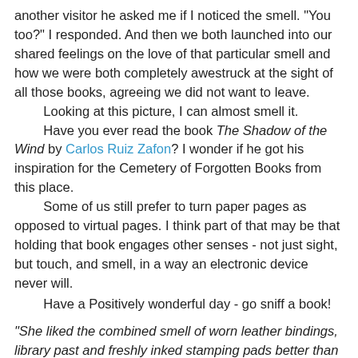another visitor he asked me if I noticed the smell. "You too?" I responded. And then we both launched into our shared feelings on the love of that particular smell and how we were both completely awestruck at the sight of all those books, agreeing we did not want to leave.
	Looking at this picture, I can almost smell it.
	Have you ever read the book The Shadow of the Wind by Carlos Ruiz Zafon? I wonder if he got his inspiration for the Cemetery of Forgotten Books from this place.
	Some of us still prefer to turn paper pages as opposed to virtual pages. I think part of that may be that holding that book engages other senses - not just sight, but touch, and smell, in a way an electronic device never will.
	Have a Positively wonderful day - go sniff a book!
"She liked the combined smell of worn leather bindings, library past and freshly inked stamping pads better than she liked the smell of burning incense at high mass." - Betty Smith, A Tree Grows in Brooklyn
As always, words and photos are my own, and require permission to reprint.
However, feel free to share the blog in it's entirety. In fact, I encourage it!